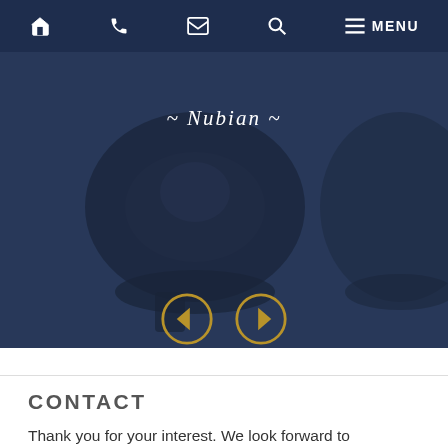Home | Phone | Email | Search | MENU
[Figure (photo): Close-up photograph of a dark wooden judge's gavel on a wooden block, with a dark blue overlay tint. The image is partially visible with a repeated/mirrored version at the right edge.]
~ Nubian ~
[Figure (other): Two circular navigation arrow buttons (left arrow and right arrow) with a gold/tan color scheme on a dark background.]
CONTACT
Thank you for your interest. We look forward to